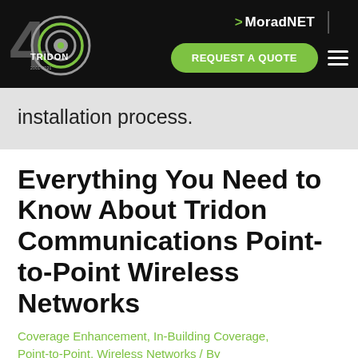[Figure (logo): Tridon Communications 40th anniversary logo — stylized '40' with concentric circle radar graphic and 'TRIDON' text below, white and green on black background]
> MoradNET   REQUEST A QUOTE  ☰
installation process.
Everything You Need to Know About Tridon Communications Point-to-Point Wireless Networks
Coverage Enhancement, In-Building Coverage, Point-to-Point, Wireless Networks / By alazarsemere
Your business is growing, and you need to ensure your